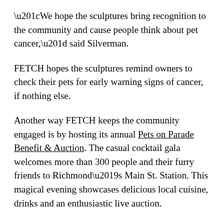“We hope the sculptures bring recognition to the community and cause people think about pet cancer,” said Silverman.
FETCH hopes the sculptures remind owners to check their pets for early warning signs of cancer, if nothing else.
Another way FETCH keeps the community engaged is by hosting its annual Pets on Parade Benefit & Auction. The casual cocktail gala welcomes more than 300 people and their furry friends to Richmond’s Main St. Station. This magical evening showcases delicious local cuisine, drinks and an enthusiastic live auction.
Pets on Parade is FETCH’s biggest fundraiser of the year, and funds raised help to further pet cancer awareness and provide financial support for programs